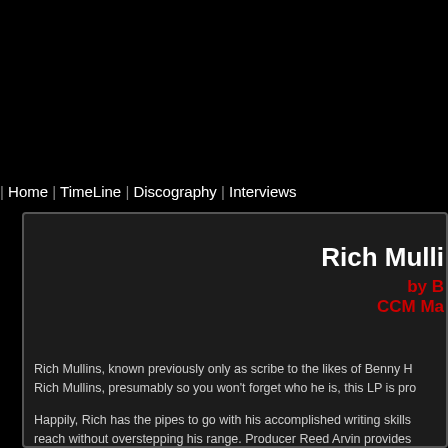| Home | TimeLine | Discography | Interviews
Rich Mulli
by B
CCM Ma
Rich Mullins, known previously only as scribe to the likes of Benny H... Rich Mullins, presumably so you won't forget who he is, this LP is pro...
Happily, Rich has the pipes to go with his accomplished writing skills... reach without overstepping his range. Producer Reed Arvin provides...
The album's lyrical themse are built mostly around Mullins' paraphras... being dead." Pointing up that creed is the dance/pop delight "Live Ri... motivational and inspirational. "Nothing But A Miracle" says quite...